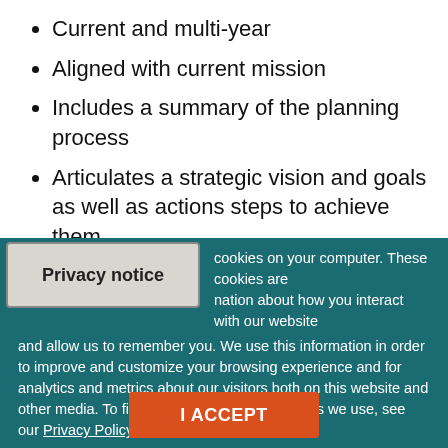Current and multi-year
Aligned with current mission
Includes a summary of the planning process
Articulates a strategic vision and goals as well as actions steps to achieve them
Covers all relevant areas of museum operations
Identifies the human and financial resources
Privacy notice
cookies on your computer. These cookies are nation about how you interact with our website and allow us to remember you. We use this information in order to improve and customize your browsing experience and for analytics and metrics about our visitors both on this website and other media. To find out more about the cookies we use, see our Privacy Policy.
I ACCEPT